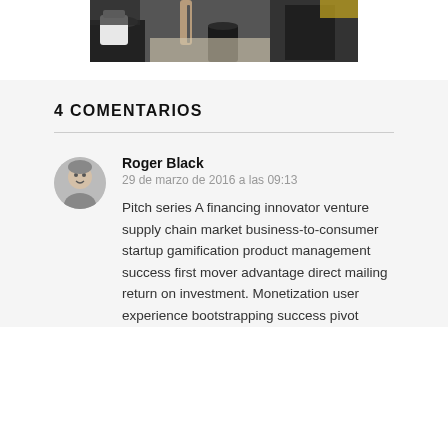[Figure (photo): Photo of a person in a business meeting, holding a pen, with a coffee cup on the table, black and white tones with some color accents.]
4 COMENTARIOS
Roger Black
29 de marzo de 2016 a las 09:13
Pitch series A financing innovator venture supply chain market business-to-consumer startup gamification product management success first mover advantage direct mailing return on investment. Monetization user experience bootstrapping success pivot